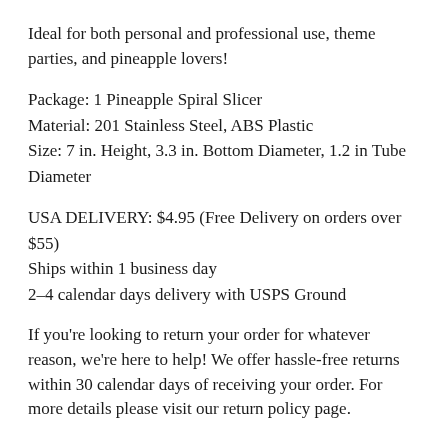Ideal for both personal and professional use, theme parties, and pineapple lovers!
Package: 1 Pineapple Spiral Slicer
Material: 201 Stainless Steel, ABS Plastic
Size: 7 in. Height, 3.3 in. Bottom Diameter, 1.2 in Tube Diameter
USA DELIVERY: $4.95 (Free Delivery on orders over $55)
Ships within 1 business day
2–4 calendar days delivery with USPS Ground
If you're looking to return your order for whatever reason, we're here to help! We offer hassle-free returns within 30 calendar days of receiving your order. For more details please visit our return policy page.